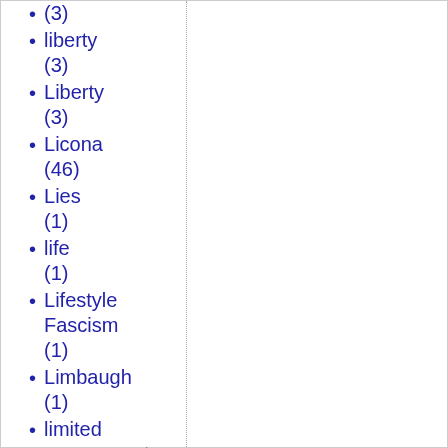(3)
liberty (3)
Liberty (3)
Licona (46)
Lies (1)
life (1)
Lifestyle Fascism (1)
Limbaugh (1)
limited government (1)
limits and borders (1)
Lincoln (5)
Lippmann